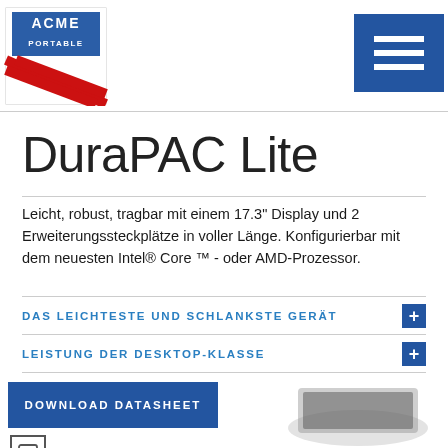[Figure (logo): ACME Portable logo with red and white diagonal stripes]
[Figure (illustration): Blue hamburger menu icon button]
DuraPAC Lite
Leicht, robust, tragbar mit einem 17.3" Display und 2 Erweiterungssteckplätze in voller Länge. Konfigurierbar mit dem neuesten Intel® Core ™ - oder AMD-Prozessor.
DAS LEICHTESTE UND SCHLANKSTE GERÄT
LEISTUNG DER DESKTOP-KLASSE
DOWNLOAD DATASHEET
[Figure (photo): Partial view of DuraPAC Lite laptop product]